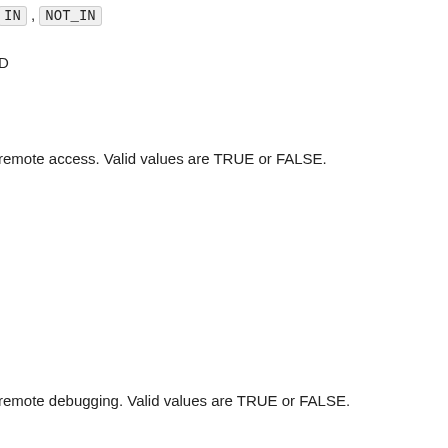IN , NOT_IN
D
remote access. Valid values are TRUE or FALSE.
remote debugging. Valid values are TRUE or FALSE.
longer supported , this filter is ignored.
ares the rule's attribute to the value. For the operators that are he attribute descriptions.